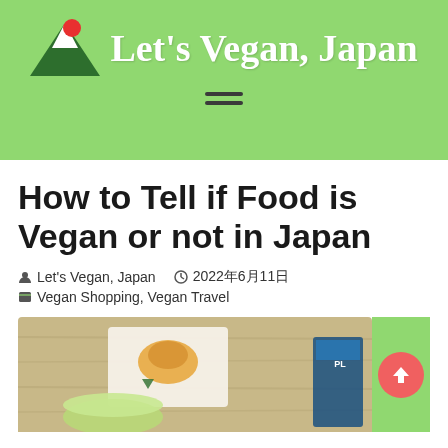Let's Vegan, Japan
How to Tell if Food is Vegan or not in Japan
Let's Vegan, Japan   2022年6月11日
Vegan Shopping, Vegan Travel
[Figure (photo): Photo of vegan Japanese food items on a wooden table, showing packaged food and a bowl]